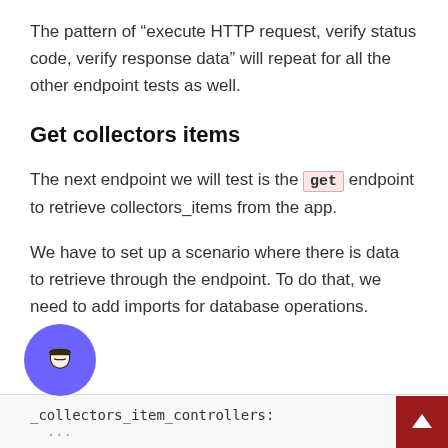The pattern of “execute HTTP request, verify status code, verify response data” will repeat for all the other endpoint tests as well.
Get collectors items
The next endpoint we will test is the get endpoint to retrieve collectors_items from the app.
We have to set up a scenario where there is data to retrieve through the endpoint. To do that, we need to add imports for database operations.
_collectors_item_controllers:
  ...